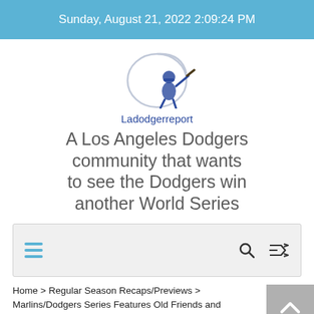Sunday, August 21, 2022 2:09:24 PM
[Figure (logo): Ladodgerreport logo: circular arc with cartoon Dodgers player figure, dark blue on white]
Ladodgerreport
A Los Angeles Dodgers community that wants to see the Dodgers win another World Series
[Figure (screenshot): Navigation bar with hamburger menu icon (three horizontal blue lines) on left, search icon and shuffle icon on right, light gray background]
Home > Regular Season Recaps/Previews > Marlins/Dodgers Series Features Old Friends and Familiar Faces